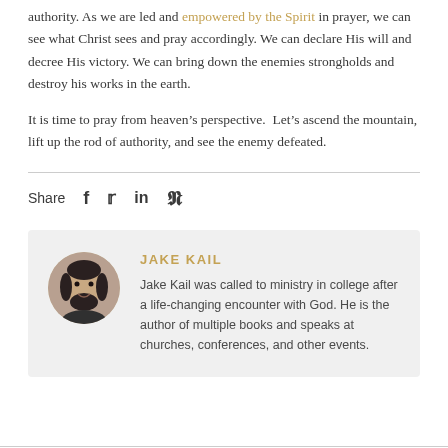authority. As we are led and empowered by the Spirit in prayer, we can see what Christ sees and pray accordingly. We can declare His will and decree His victory. We can bring down the enemies strongholds and destroy his works in the earth.
It is time to pray from heaven's perspective.  Let's ascend the mountain, lift up the rod of authority, and see the enemy defeated.
Share  f  𝕥  in  𝕡
[Figure (photo): Circular avatar photo of Jake Kail, a man with dark hair and a beard, smiling]
JAKE KAIL
Jake Kail was called to ministry in college after a life-changing encounter with God. He is the author of multiple books and speaks at churches, conferences, and other events.